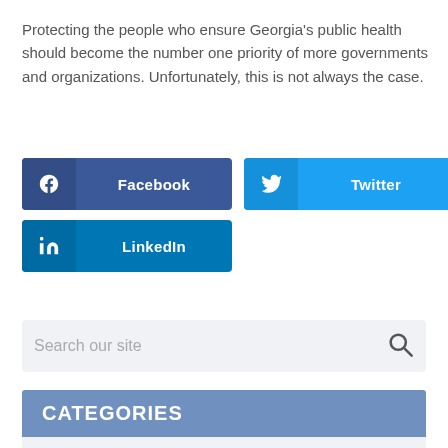Protecting the people who ensure Georgia's public health should become the number one priority of more governments and organizations. Unfortunately, this is not always the case.
[Figure (infographic): Three social media share buttons: Facebook (dark blue), Twitter (light blue), LinkedIn (medium blue)]
Search our site
CATEGORIES
Auto Accidents (4)
Blog (10)